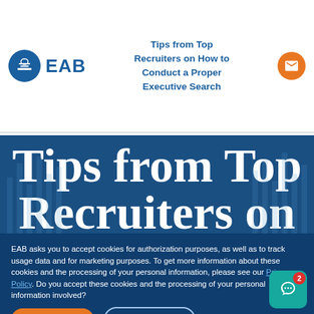Tips from Top Recruiters on How to Conduct a Proper Executive Search
Tips from Top Recruiters on How to Conduct a Proper
EAB asks you to accept cookies for authorization purposes, as well as to track usage data and for marketing purposes. To get more information about these cookies and the processing of your personal information, please see our Privacy Policy. Do you accept these cookies and the processing of your personal information involved?